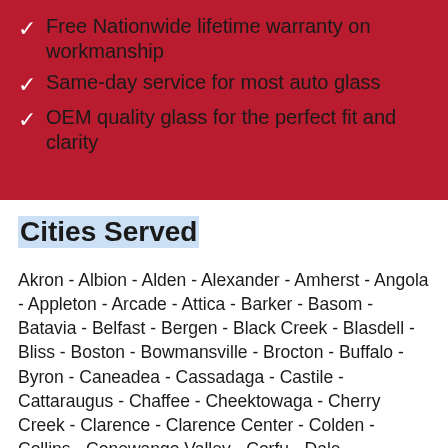Free Nationwide lifetime warranty on workmanship
Same-day service for most auto glass
OEM quality glass for the perfect fit and clarity
Cities Served
Akron - Albion - Alden - Alexander - Amherst - Angola - Appleton - Arcade - Attica - Barker - Basom - Batavia - Belfast - Bergen - Black Creek - Blasdell - Bliss - Boston - Bowmansville - Brocton - Buffalo - Byron - Caneadea - Cassadaga - Castile - Cattaraugus - Chaffee - Cheektowaga - Cherry Creek - Clarence - Clarence Center - Colden - Collins - Conewango Valley - Corfu - Dale...